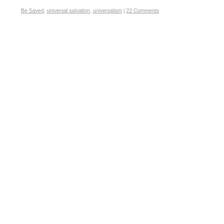Be Saved, universal salvation, universalism | 22 Comments